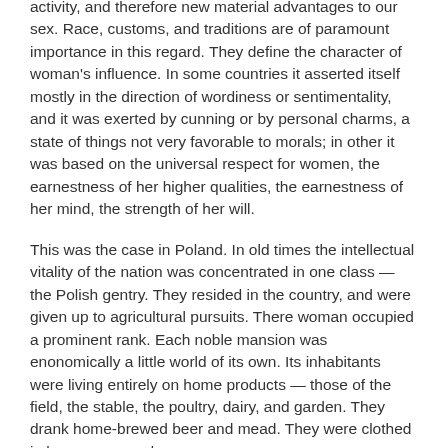activity, and therefore new material advantages to our sex. Race, customs, and traditions are of paramount importance in this regard. They define the character of woman's influence. In some countries it asserted itself mostly in the direction of wordiness or sentimentality, and it was exerted by cunning or by personal charms, a state of things not very favorable to morals; in other it was based on the universal respect for women, the earnestness of her higher qualities, the earnestness of her mind, the strength of her will.
This was the case in Poland. In old times the intellectual vitality of the nation was concentrated in one class — the Polish gentry. They resided in the country, and were given up to agricultural pursuits. There woman occupied a prominent rank. Each noble mansion was enonomically a little world of its own. Its inhabitants were living entirely on home products — those of the field, the stable, the poultry, dairy, and garden. They drank home-brewed beer and mead. They were clothed in home-spun and